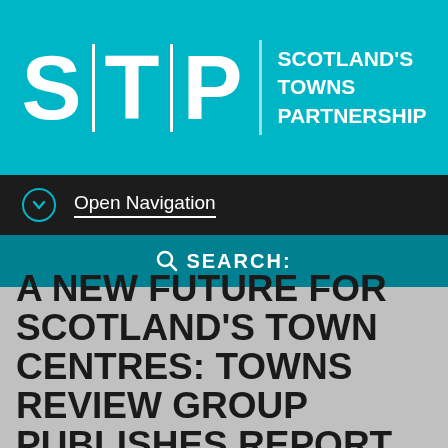[Figure (logo): Scotland's Towns Partnership (STP) logo with large letters S, T, P separated by vertical lines and text 'SCOTLAND'S TOWNS PARTNERSHIP' on teal/cyan background]
Open Navigation
SEARCH:
A NEW FUTURE FOR SCOTLAND'S TOWN CENTRES: TOWNS REVIEW GROUP PUBLISHES REPORT